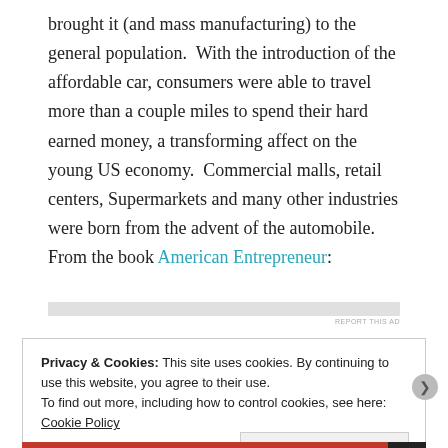brought it (and mass manufacturing) to the general population.  With the introduction of the affordable car, consumers were able to travel more than a couple miles to spend their hard earned money, a transforming affect on the young US economy.  Commercial malls, retail centers, Supermarkets and many other industries were born from the advent of the automobile.  From the book American Entrepreneur:
[Figure (other): Gray advertisement placeholder bar with 'REPORT THIS AD' label]
Privacy & Cookies: This site uses cookies. By continuing to use this website, you agree to their use.
To find out more, including how to control cookies, see here: Cookie Policy
Close and accept